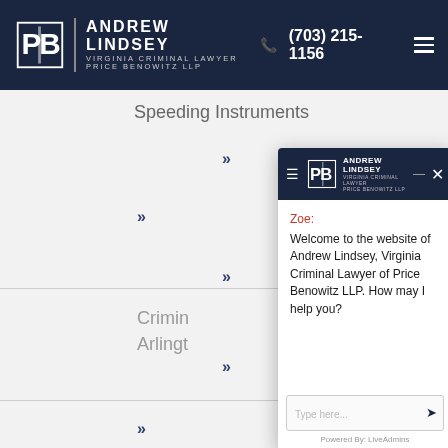Andrew Lindsey Virginia Criminal Lawyer Price Benowitz LLP | (703) 215-1156
Speeding Instruments
Crimin
Arlingt
[Figure (screenshot): Chat popup overlay from LiveAdmins showing Andrew Lindsey Virginia Criminal Lawyer Price Benowitz LLP branding. Zoe: Welcome to the website of Andrew Lindsey, Virginia Criminal Lawyer of Price Benowitz LLP. How may I help you? Input box with 'Type here...' placeholder and send button. Powered By: LiveAdmins.]